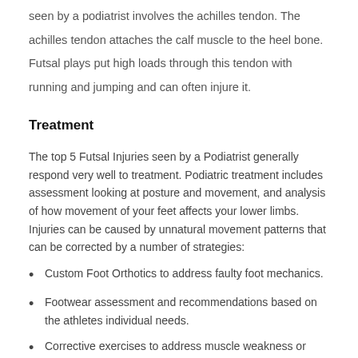seen by a podiatrist involves the achilles tendon. The achilles tendon attaches the calf muscle to the heel bone. Futsal plays put high loads through this tendon with running and jumping and can often injure it.
Treatment
The top 5 Futsal Injuries seen by a Podiatrist generally respond very well to treatment. Podiatric treatment includes assessment looking at posture and movement, and analysis of how movement of your feet affects your lower limbs. Injuries can be caused by unnatural movement patterns that can be corrected by a number of strategies:
Custom Foot Orthotics to address faulty foot mechanics.
Footwear assessment and recommendations based on the athletes individual needs.
Corrective exercises to address muscle weakness or